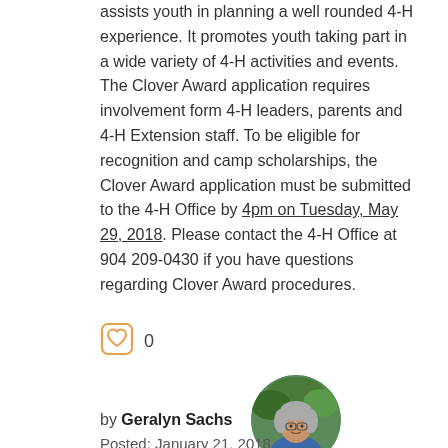assists youth in planning a well rounded 4-H experience. It promotes youth taking part in a wide variety of 4-H activities and events. The Clover Award application requires involvement form 4-H leaders, parents and 4-H Extension staff. To be eligible for recognition and camp scholarships, the Clover Award application must be submitted to the 4-H Office by 4pm on Tuesday, May 29, 2018. Please contact the 4-H Office at 904 209-0430 if you have questions regarding Clover Award procedures.
[Figure (other): Heart/like icon with count 0]
by Geralyn Sachs
[Figure (photo): Circular profile photo of Geralyn Sachs, a woman with grey hair wearing a blue shirt, outdoors.]
Posted: January 21, 2018